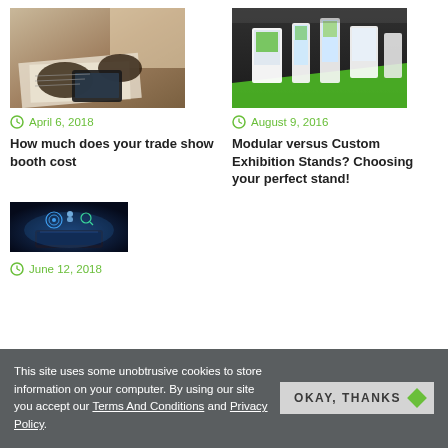[Figure (photo): Two hands working over documents and a tablet on a desk]
[Figure (photo): Trade show exhibition stands with green and white displays]
April 6, 2018
August 9, 2016
How much does your trade show booth cost
Modular versus Custom Exhibition Stands? Choosing your perfect stand!
[Figure (photo): Person holding tablet with digital icons floating above]
June 12, 2018
This site uses some unobtrusive cookies to store information on your computer. By using our site you accept our Terms And Conditions and Privacy Policy.